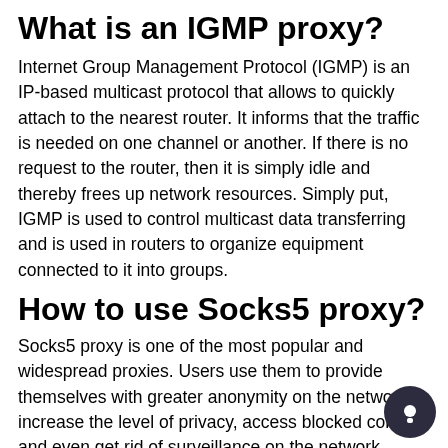What is an IGMP proxy?
Internet Group Management Protocol (IGMP) is an IP-based multicast protocol that allows to quickly attach to the nearest router. It informs that the traffic is needed on one channel or another. If there is no request to the router, then it is simply idle and thereby frees up network resources. Simply put, IGMP is used to control multicast data transferring and is used in routers to organize equipment connected to it into groups.
How to use Socks5 proxy?
Socks5 proxy is one of the most popular and widespread proxies. Users use them to provide themselves with greater anonymity on the network, increase the level of privacy, access blocked content, and even get rid of surveillance on the network. Whether you need Socks5 to watch US Netflix or to be on the safe side, the setup path remains the same. You need to open your network settings and